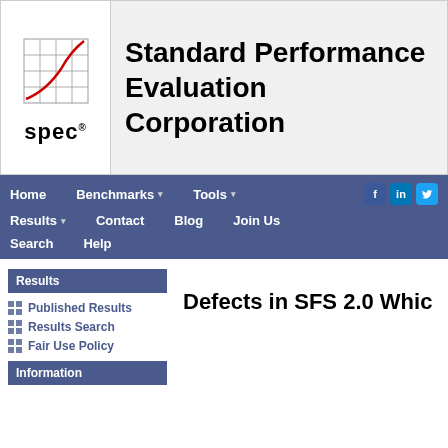[Figure (logo): SPEC logo: grid with red curve and 'spec' text below]
Standard Performance Evaluation Corporation
Home   Benchmarks ▾   Tools ▾   Results ▾   Contact   Blog   Join Us   Search   Help
Results
Published Results
Results Search
Fair Use Policy
Information
Defects in SFS 2.0 Which